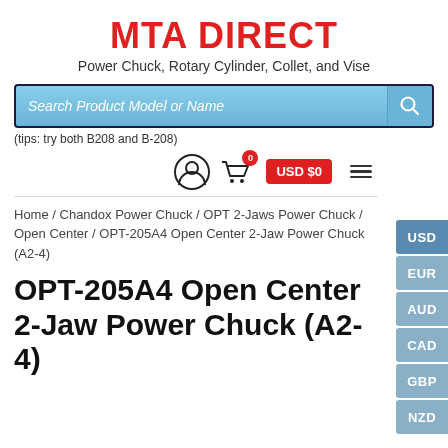MTA DIRECT
Power Chuck, Rotary Cylinder, Collet, and Vise
[Figure (screenshot): Search bar with light blue gradient background reading 'Search Product Model or Name' with a search icon on the right]
(tips: try both B208 and B-208)
[Figure (infographic): Navigation bar with user icon, cart icon with badge showing 0 and USD $0 label, and hamburger menu. Currency selector sidebar showing USD, EUR, AUD, CAD, GBP, NZD buttons.]
Home / Chandox Power Chuck / OPT 2-Jaws Power Chuck / Open Center / OPT-205A4 Open Center 2-Jaw Power Chuck (A2-4)
OPT-205A4 Open Center 2-Jaw Power Chuck (A2-4)